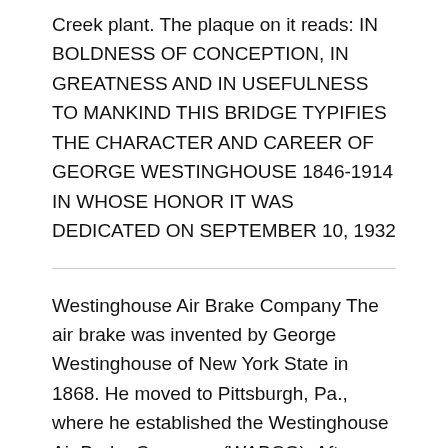Creek plant. The plaque on it reads: IN BOLDNESS OF CONCEPTION, IN GREATNESS AND IN USEFULNESS TO MANKIND THIS BRIDGE TYPIFIES THE CHARACTER AND CAREER OF GEORGE WESTINGHOUSE 1846-1914 IN WHOSE HONOR IT WAS DEDICATED ON SEPTEMBER 10, 1932
Westinghouse Air Brake Company The air brake was invented by George Westinghouse of New York State in 1868. He moved to Pittsburgh, Pa., where he established the Westinghouse Air Brake Company (WABCO). After having manufactured equipment in Pittsburgh for a number of years, he began to construct facilities and plants eastwards of the city where homes for his employees were built, particularly at East Pittsburgh, Turtle Creek, and